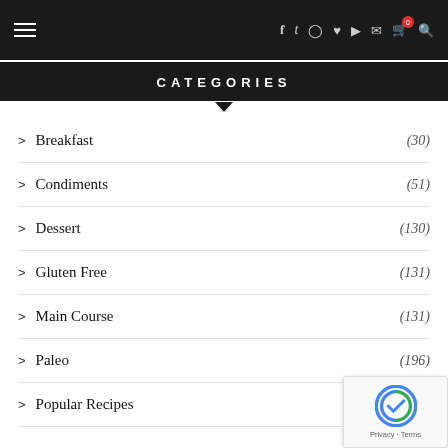Navigation bar with hamburger menu and social icons
CATEGORIES
Breakfast (30)
Condiments (51)
Dessert (130)
Gluten Free (131)
Main Course (131)
Paleo (196)
Popular Recipes